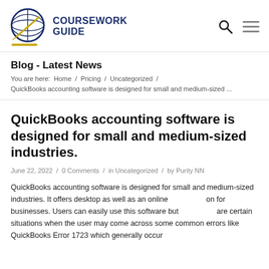[Figure (logo): Coursework Guide logo with globe graphic and text COURSEWORK GUIDE]
Blog - Latest News
You are here: Home / Pricing / Uncategorized / QuickBooks accounting software is designed for small and medium-sized ...
QuickBooks accounting software is designed for small and medium-sized industries.
June 22, 2022 / 0 Comments / in Uncategorized / by Purity NN
QuickBooks accounting software is designed for small and medium-sized industries. It offers desktop as well as an online on for businesses. Users can easily use this software but are certain situations when the user may come across some common errors like QuickBooks Error 1723 which generally occur